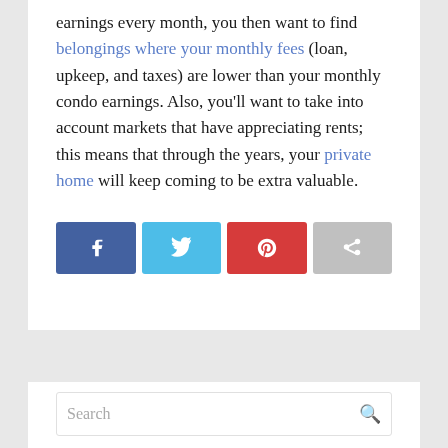earnings every month, you then want to find belongings where your monthly fees (loan, upkeep, and taxes) are lower than your monthly condo earnings. Also, you'll want to take into account markets that have appreciating rents; this means that through the years, your private home will keep coming to be extra valuable.
[Figure (infographic): Four social share buttons: Facebook (dark blue), Twitter (light blue), Pinterest (red), and a generic share button (grey)]